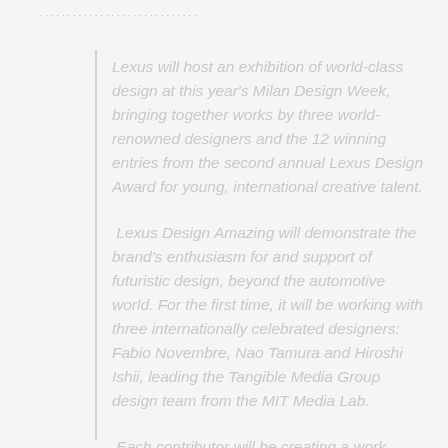......................
Lexus will host an exhibition of world-class design at this year's Milan Design Week, bringing together works by three world-renowned designers and the 12 winning entries from the second annual Lexus Design Award for young, international creative talent.
Lexus Design Amazing will demonstrate the brand's enthusiasm for and support of futuristic design, beyond the automotive world. For the first time, it will be working with three internationally celebrated designers: Fabio Novembre, Nao Tamura and Hiroshi Ishii, leading the Tangible Media Group design team from the MIT Media Lab.
Each contributor will be creating a work specially developed for the show, inspired by Lexus's global brand concept campaign Amazing in Motion. The exhibition will be open to the public at the Circolo Fiblogico in Milan from